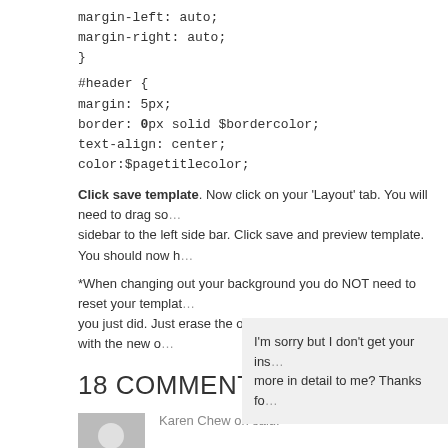margin-left: auto;
margin-right: auto;
}
#header {
margin: 5px;
border: 0px solid $bordercolor;
text-align: center;
color:$pagetitlecolor;
Click save template. Now click on your 'Layout' tab. You will need to drag some sidebar to the left side bar. Click save and preview template. You should now h
*When changing out your background you do NOT need to reset your template you just did. Just erase the old background code and replace it with the new o
18 COMMENTS
Karen Chew on said:
[Figure (illustration): Grey avatar placeholder icon showing a person silhouette]
I'm sorry but I don't get your ins more in detail to me? Thanks fo
Log in to Reply
cutest_admin on said:
[Figure (illustration): Grey avatar placeholder icon showing a person silhouette, smaller]